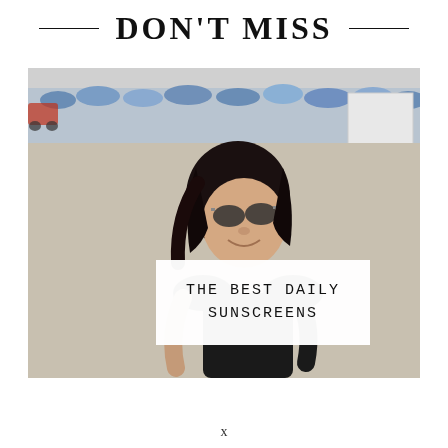DON'T MISS
[Figure (photo): A smiling woman with dark hair and sunglasses standing on a beach, wearing a black outfit. Beach chairs and umbrellas visible in the background.]
THE BEST DAILY SUNSCREENS
x